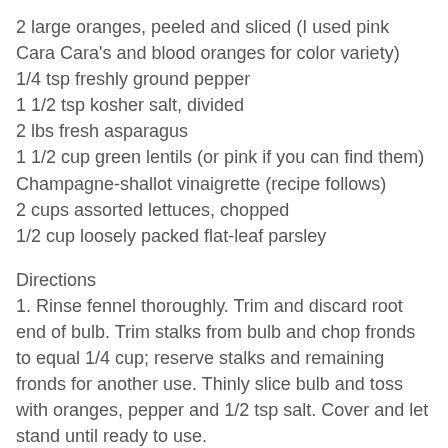2 large oranges, peeled and sliced (I used pink Cara Cara's and blood oranges for color variety)
1/4 tsp freshly ground pepper
1 1/2 tsp kosher salt, divided
2 lbs fresh asparagus
1 1/2 cup green lentils (or pink if you can find them)
Champagne-shallot vinaigrette (recipe follows)
2 cups assorted lettuces, chopped
1/2 cup loosely packed flat-leaf parsley
Directions
1. Rinse fennel thoroughly. Trim and discard root end of bulb. Trim stalks from bulb and chop fronds to equal 1/4 cup; reserve stalks and remaining fronds for another use. Thinly slice bulb and toss with oranges, pepper and 1/2 tsp salt. Cover and let stand until ready to use.
2. Meanwhile, cut asparagus into 1 1/2-inch pieces. Cut stalks diagonally into thin slices, discarding tough stems. Bring 3 cups of water and 1/2 tsp salt to a boil in a large saucepan over medium-high heat. Add asparagus and cook 1 to 2 minutes or until crisp-tender; drain. Plunge into ice water to stop the cooking process; drain. Pat dry with